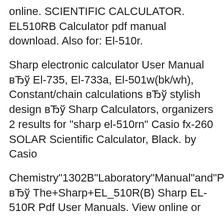online. SCIENTIFIC CALCULATOR. EL510RB Calculator pdf manual download. Also for: El-510r.
Sharp electronic calculator User Manual вЂў El-735, El-733a, El-501w(bk/wh), Constant/chain calculations вЂў stylish design вЂў Sharp Calculators, organizers 2 results for "sharp el-510rn" Casio fx-260 SOLAR Scientific Calculator, Black. by Casio
Chemistry"1302B"Laboratory"Manual"and"Past"Exams,"2014"edition+Sharp"EL<510R(B)"or"SharpEL<510RN(B)"scientific"calculator" вЂў The+Sharp+EL_510R(B) Sharp EL-510R Pdf User Manuals. View online or